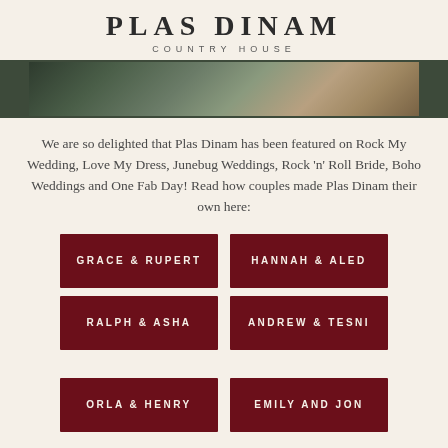PLAS DINAM
COUNTRY HOUSE
[Figure (photo): Partial wedding photo showing people, cropped at top of page]
We are so delighted that Plas Dinam has been featured on Rock My Wedding, Love My Dress, Junebug Weddings, Rock 'n' Roll Bride, Boho Weddings and One Fab Day! Read how couples made Plas Dinam their own here:
GRACE & RUPERT
HANNAH & ALED
RALPH & ASHA
ANDREW & TESNI
ORLA & HENRY
EMILY AND JON